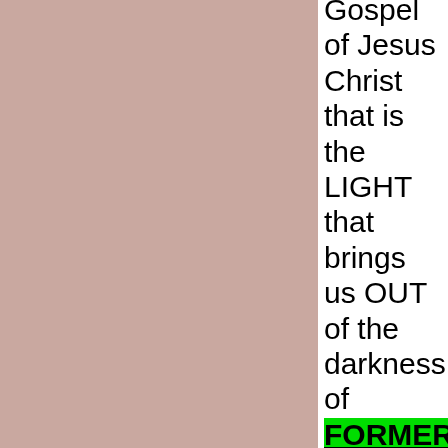Gospel of Jesus Christ that is the LIGHT that brings us OUT of the darkness of FORMER things that God brought to and END